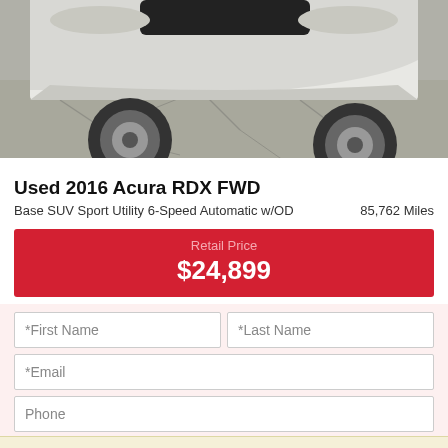[Figure (photo): Partial front view of a white 2016 Acura RDX FWD SUV photographed from below on a concrete/asphalt surface]
Used 2016 Acura RDX FWD
Base SUV Sport Utility 6-Speed Automatic w/OD    85,762 Miles
Retail Price $24,899
*First Name  *Last Name  *Email  Phone
Your web browser (iOS 11) is out of date. Update your browser for more security, speed and the best experience on this site.
Update browser  Ignore